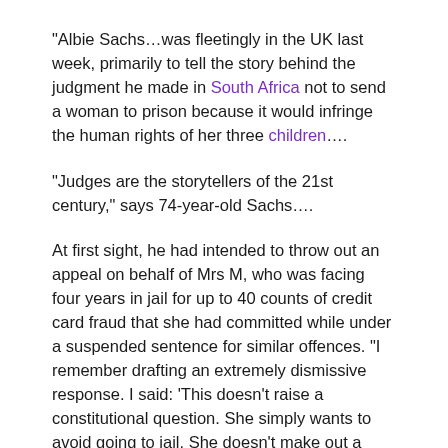“Albie Sachs…was fleetingly in the UK last week, primarily to tell the story behind the judgment he made in South Africa not to send a woman to prison because it would infringe the human rights of her three children….
“Judges are the storytellers of the 21st century,” says 74-year-old Sachs….
At first sight, he had intended to throw out an appeal on behalf of Mrs M, who was facing four years in jail for up to 40 counts of credit card fraud that she had committed while under a suspended sentence for similar offences. “I remember drafting an extremely dismissive response. I said: ‘This doesn’t raise a constitutional question. She simply wants to avoid going to jail. She doesn’t make out a case, and her prospects of success are zero.’ “It was a female colleague…who insisted that the case be heard. She argued that the human rights of the accused woman’s children were not being looked at separately.
“She said ‘There is something more going on here. What about the…